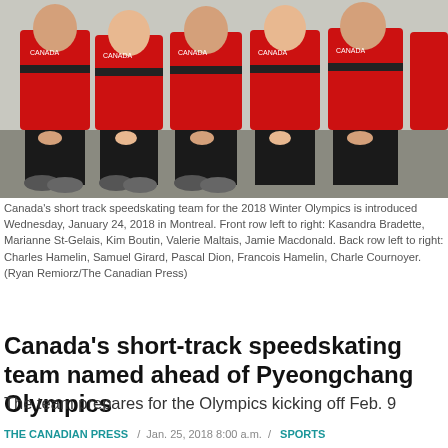[Figure (photo): Group photo of Canada's short track speedskating team seated in red jackets and black pants]
Canada's short track speedskating team for the 2018 Winter Olympics is introduced Wednesday, January 24, 2018 in Montreal. Front row left to right: Kasandra Bradette, Marianne St-Gelais, Kim Boutin, Valerie Maltais, Jamie Macdonald. Back row left to right: Charles Hamelin, Samuel Girard, Pascal Dion, Francois Hamelin, Charle Cournoyer. (Ryan Remiorz/The Canadian Press)
Canada's short-track speedskating team named ahead of Pyeongchang Olympics
The team prepares for the Olympics kicking off Feb. 9
THE CANADIAN PRESS / Jan. 25, 2018 8:00 a.m. / SPORTS